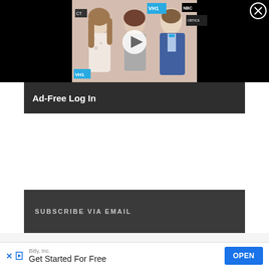[Figure (screenshot): Video player thumbnail showing three people at an event with press wall, play button overlay, and close button. Sponsor logos NBC and VH1 visible.]
Ad-Free Log In
SUBSCRIBE VIA EMAIL
[Figure (screenshot): Mobile advertisement banner: Bitly, Inc. - Get Started For Free with blue OPEN button. X close button top right.]